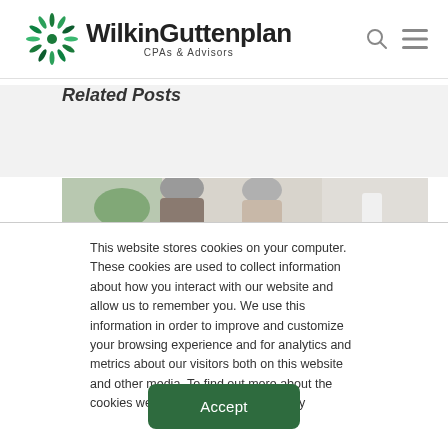WilkinGuttenplan CPAs & Advisors
Related Posts
[Figure (photo): Two older adults with grey hair photographed from behind, indoor setting with plants and furniture in the background]
This website stores cookies on your computer. These cookies are used to collect information about how you interact with our website and allow us to remember you. We use this information in order to improve and customize your browsing experience and for analytics and metrics about our visitors both on this website and other media. To find out more about the cookies we use, see our Privacy Policy
Accept